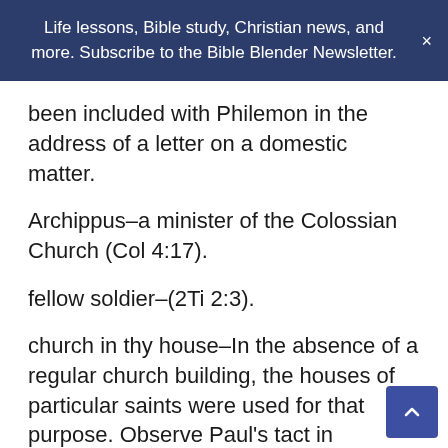Life lessons, Bible study, Christian news, and more. Subscribe to the Bible Blender Newsletter. ×
been included with Philemon in the address of a letter on a domestic matter.
Archippus–a minister of the Colossian Church (Col 4:17).
fellow soldier–(2Ti 2:3).
church in thy house–In the absence of a regular church building, the houses of particular saints were used for that purpose. Observe Paul's tact in associating with Philemon those associated by kindred or Christian